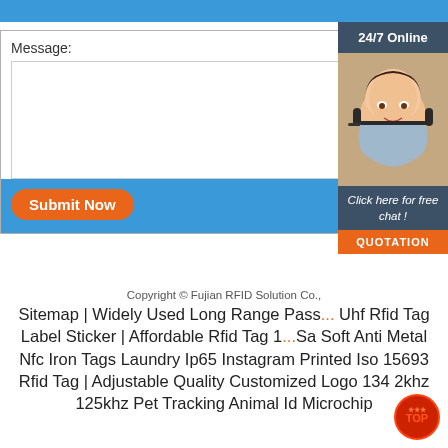Message:
Submit Now
24/7 Online
Click here for free chat !
QUOTATION
Copyright © Fujian RFID Solution Co.,
Sitemap | Widely Used Long Range Pass... Uhf Rfid Tag Label Sticker | Affordable Rfid Tag 1... Soft Anti Metal Nfc Iron Tags Laundry Ip65 Instagram Printed Iso 15693 Rfid Tag | Adjustable Quality Customized Logo 134 2khz 125khz Pet Tracking Animal Id Microchip